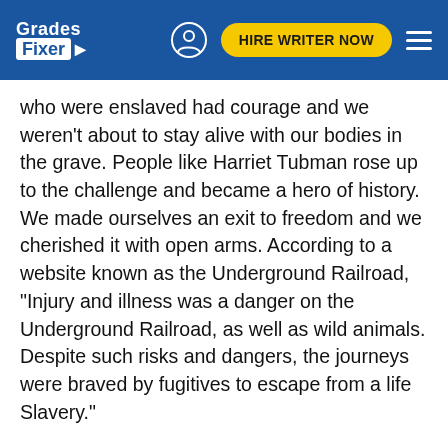Grades Fixer | HIRE WRITER NOW
who were enslaved had courage and we weren't about to stay alive with our bodies in the grave. People like Harriet Tubman rose up to the challenge and became a hero of history. We made ourselves an exit to freedom and we cherished it with open arms. According to a website known as the Underground Railroad, “Injury and illness was a danger on the Underground Railroad, as well as wild animals. Despite such risks and dangers, the journeys were braved by fugitives to escape from a life Slavery.”
Leaving slavery forcefully however wouldn’t cut it. They would just get new slaves or they would find the ones who did escape. No we had to take a more political action. We can see this from the example of the Black Panthers, Malcolm X, even Barack Obama